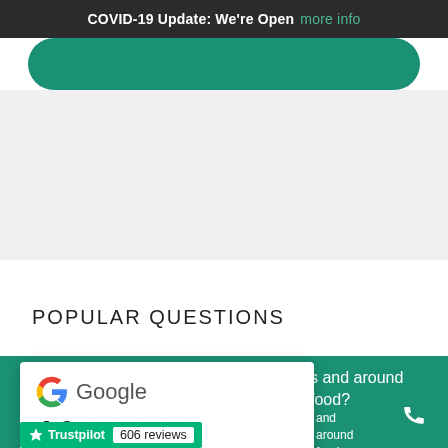COVID-19 Update: We're Open more info
POPULAR QUESTIONS
s and around food?
[Figure (logo): Google logo with rating 4.9 stars based on 372 reviews]
and around food hend your food to be properly
[Figure (logo): Trustpilot logo with 606 reviews]